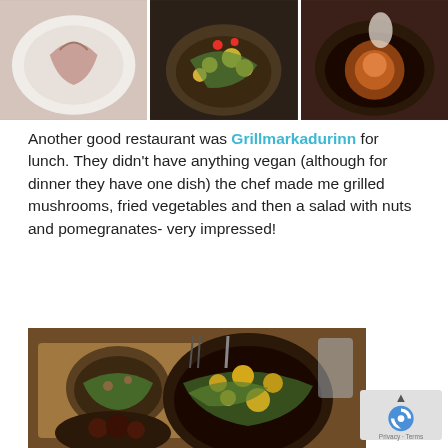[Figure (photo): Three food photos side by side at the top of the page showing restaurant dishes]
Another good restaurant was Grillmarkadurinn for lunch. They didn't have anything vegan (although for dinner they have one dish) the chef made me grilled mushrooms, fried vegetables and then a salad with nuts and pomegranates- very impressed!
[Figure (photo): Restaurant table with two dishes: a salad bowl with greens and mushrooms, and a dark bowl with salad topped with nuts, orange segments and pomegranate seeds, plus grilled items on a dark plate]
Privacy · Terms